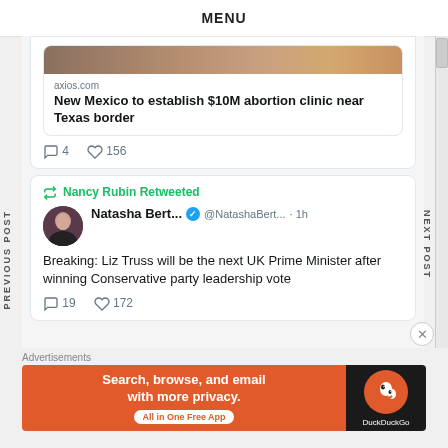MENU
[Figure (screenshot): Partial image of a news article photo at the top of a tweet card]
axios.com
New Mexico to establish $10M abortion clinic near Texas border
4 replies, 156 likes
Nancy Rubin Retweeted
[Figure (photo): Profile avatar of Natasha Bert, a person in dark clothing]
Natasha Bert... @NatashaBert... · 1h
Breaking: Liz Truss will be the next UK Prime Minister after winning Conservative party leadership vote
19 replies, 172 likes
Advertisements
[Figure (screenshot): DuckDuckGo advertisement banner: Search, browse, and email with more privacy. All in One Free App.]